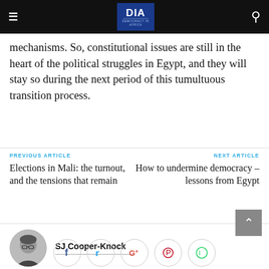DIA — Democracy in Africa
mechanisms. So, constitutional issues are still in the heart of the political struggles in Egypt, and they will stay so during the next period of this tumultuous transition process.
PREVIOUS ARTICLE
Elections in Mali: the turnout, and the tensions that remain
NEXT ARTICLE
How to undermine democracy – lessons from Egypt
SJ Cooper-Knock